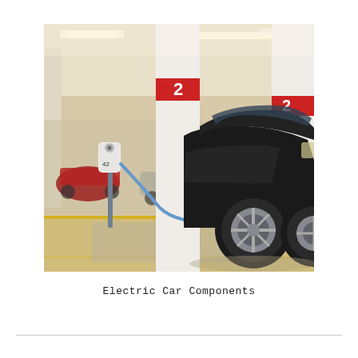[Figure (photo): A black electric SUV (BMW) plugged into a white EV charging station (numbered 42) with a blue cable in an indoor parking garage. The garage has yellow floor markings, white columns with red bands marked with numbers (2), and fluorescent lighting overhead. Several other parked cars are visible in the background.]
Electric Car Components